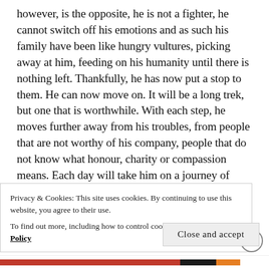however, is the opposite, he is not a fighter, he cannot switch off his emotions and as such his family have been like hungry vultures, picking away at him, feeding on his humanity until there is nothing left. Thankfully, he has now put a stop to them. He can now move on. It will be a long trek, but one that is worthwhile. With each step, he moves further away from his troubles, from people that are not worthy of his company, people that do not know what honour, charity or compassion means. Each day will take him on a journey of healing and the realisation that he is important, worthy of love and kindness, and that he is loved more than he will
Privacy & Cookies: This site uses cookies. By continuing to use this website, you agree to their use.
To find out more, including how to control cookies, see here: Cookie Policy
Close and accept